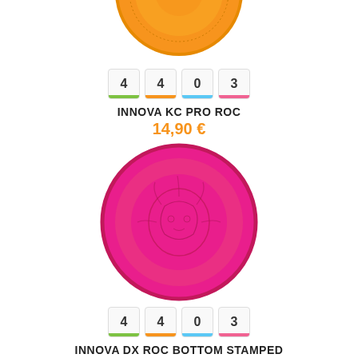[Figure (photo): Orange disc golf frisbee (Innova KC Pro Roc) viewed from above, partially cropped at top]
4  4  0  3 (flight numbers stats row for Innova KC Pro Roc)
INNOVA KC PRO ROC
14,90 €
[Figure (photo): Hot pink disc golf frisbee (Innova DX Roc Bottom Stamped) viewed from above with lion head stamp visible]
4  4  0  3 (flight numbers stats row for Innova DX Roc Bottom Stamped)
INNOVA DX ROC BOTTOM STAMPED